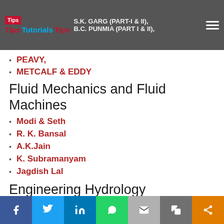Tips Tutorials Tips
PEAVY,
METCALF & EDDY
Fluid Mechanics and Fluid Machines
Modi & Seth
R. K. Bansal
A.K.Jain
K. Subramanyam
Jagdish Lal
Engineering Hydrology
K. Subramanya
f  t  in  WhatsApp  Email  Copy  Share